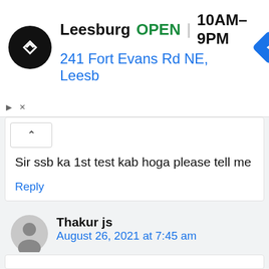[Figure (screenshot): Ad banner for Leesburg store showing logo, OPEN status, hours 10AM-9PM, and address 241 Fort Evans Rd NE, Leesb with navigation icon]
Sir ssb ka 1st test kab hoga please tell me
Reply
Thakur js
August 26, 2021 at 7:45 am